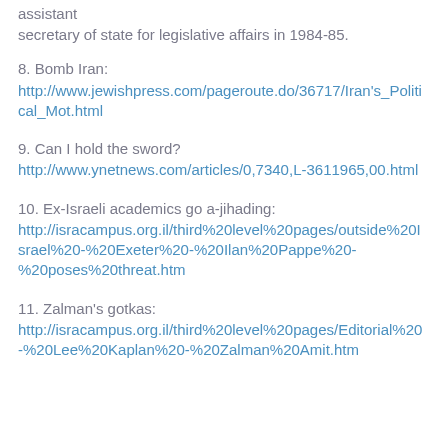assistant secretary of state for legislative affairs in 1984-85.
8. Bomb Iran:
http://www.jewishpress.com/pageroute.do/36717/Iran's_Political_Mot.html
9. Can I hold the sword?
http://www.ynetnews.com/articles/0,7340,L-3611965,00.html
10. Ex-Israeli academics go a-jihading:
http://isracampus.org.il/third%20level%20pages/outside%20Israel%20-%20Exeter%20-%20Ilan%20Pappe%20-%20poses%20threat.htm
11. Zalman's gotkas:
http://isracampus.org.il/third%20level%20pages/Editorial%20-%20Lee%20Kaplan%20-%20Zalman%20Amit.htm